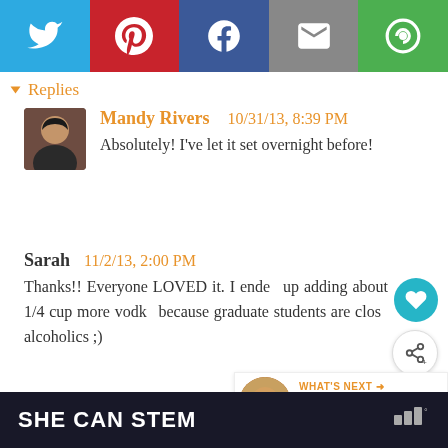[Figure (other): Social share toolbar with Twitter, Pinterest, Facebook, Email, and Copy Link buttons]
▾ Replies
Mandy Rivers   10/31/13, 8:39 PM
Absolutely! I've let it set overnight before!
Sarah   11/2/13, 2:00 PM
Thanks!! Everyone LOVED it. I ended up adding about 1/4 cup more vodka because graduate students are close alcoholics ;)
Reply
[Figure (other): What's Next promo box with image and text: Magic Cake with Autumn...]
[Figure (other): SHE CAN STEM footer banner advertisement]